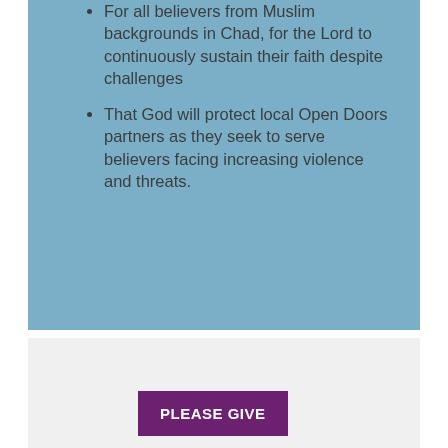For all believers from Muslim backgrounds in Chad, for the Lord to continuously sustain their faith despite challenges
That God will protect local Open Doors partners as they seek to serve believers facing increasing violence and threats.
PLEASE GIVE